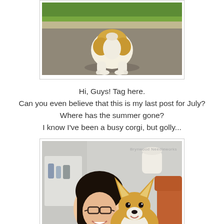[Figure (photo): Photo of a corgi dog seen from behind, sitting on pavement with green grass in background]
Hi, Guys! Tag here.
Can you even believe that this is my last post for July?
Where has the summer gone?
I know I've been a busy corgi, but golly...
[Figure (photo): Photo of a woman with dark hair and glasses smiling, holding a corgi dog in what appears to be a veterinary office. Watermark reads 'Brynwood Needleworks']